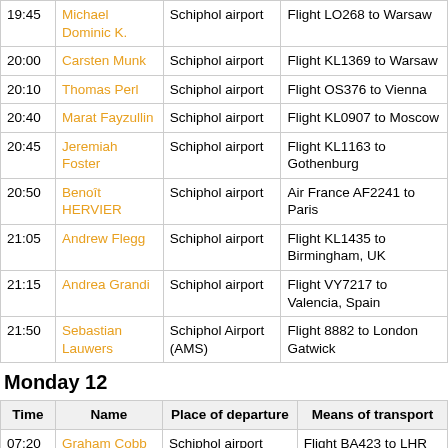| Time | Name | Place of departure | Means of transport |
| --- | --- | --- | --- |
| 19:45 | Michael Dominic K. | Schiphol airport | Flight LO268 to Warsaw |
| 20:00 | Carsten Munk | Schiphol airport | Flight KL1369 to Warsaw |
| 20:10 | Thomas Perl | Schiphol airport | Flight OS376 to Vienna |
| 20:40 | Marat Fayzullin | Schiphol airport | Flight KL0907 to Moscow |
| 20:45 | Jeremiah Foster | Schiphol airport | Flight KL1163 to Gothenburg |
| 20:50 | Benoît HERVIER | Schiphol airport | Air France AF2241 to Paris |
| 21:05 | Andrew Flegg | Schiphol airport | Flight KL1435 to Birmingham, UK |
| 21:15 | Andrea Grandi | Schiphol airport | Flight VY7217 to Valencia, Spain |
| 21:50 | Sebastian Lauwers | Schiphol Airport (AMS) | Flight 8882 to London Gatwick |
Monday 12
| Time | Name | Place of departure | Means of transport |
| --- | --- | --- | --- |
| 07:20 | Graham Cobb | Schiphol airport | Flight BA423 to LHR |
| 10:00 | Andrei Mirestean | Schiphol airport (AMS) | Flight MA661 to Budapest |